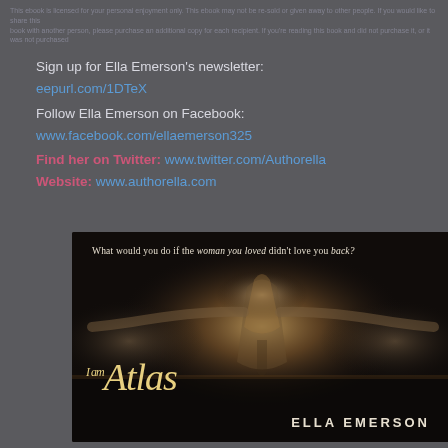[faded background text lines - privacy/terms related]
Sign up for Ella Emerson's newsletter:
eepurl.com/1DTeX
Follow Ella Emerson on Facebook:
www.facebook.com/ellaemerson325
Find her on Twitter: www.twitter.com/Authorella
Website: www.authorella.com
[Figure (illustration): Book cover for 'I am Atlas' by Ella Emerson. Dark dramatic image of a shirtless man with arms outstretched looking upward. Tagline reads: 'What would you do if the woman you loved didn't love you back?' Title 'Atlas' in gold italic script, author name ELLA EMERSON in white caps at bottom right.]